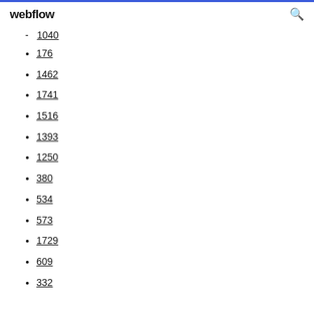webflow
1040
176
1462
1741
1516
1393
1250
380
534
573
1729
609
332